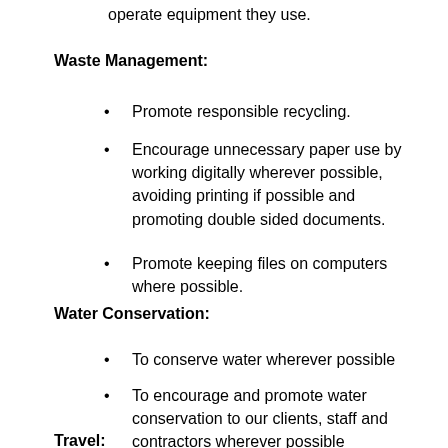operate equipment they use.
Waste Management:
Promote responsible recycling.
Encourage unnecessary paper use by working digitally wherever possible, avoiding printing if possible and promoting double sided documents.
Promote keeping files on computers where possible.
Water Conservation:
To conserve water wherever possible
To encourage and promote water conservation to our clients, staff and contractors wherever possible
Travel: